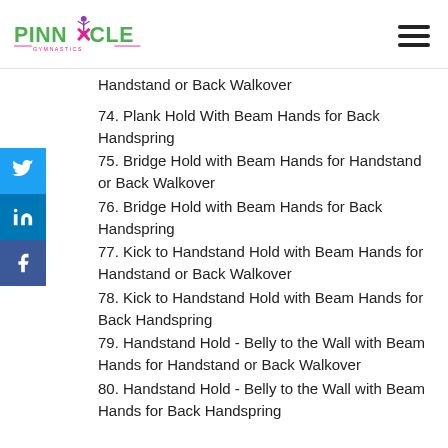Pinnacle Gymnastics
Handstand or Back Walkover
74. Plank Hold With Beam Hands for Back Handspring
75. Bridge Hold with Beam Hands for Handstand or Back Walkover
76. Bridge Hold with Beam Hands for Back Handspring
77. Kick to Handstand Hold with Beam Hands for Handstand or Back Walkover
78. Kick to Handstand Hold with Beam Hands for Back Handspring
79. Handstand Hold - Belly to the Wall with Beam Hands for Handstand or Back Walkover
80. Handstand Hold - Belly to the Wall with Beam Hands for Back Handspring